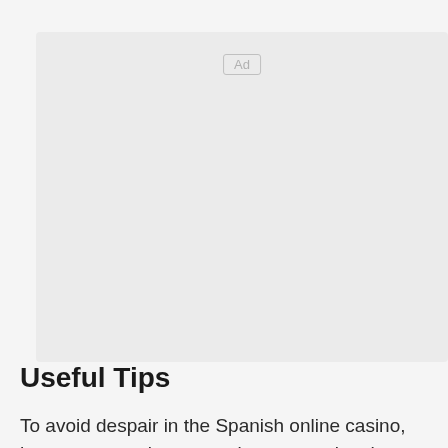[Figure (other): Advertisement placeholder box with 'Ad' label in the center top area]
Useful Tips
To avoid despair in the Spanish online casino, here are some important tips concerning the